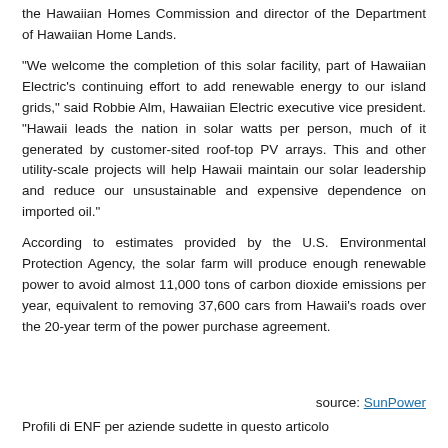the Hawaiian Homes Commission and director of the Department of Hawaiian Home Lands.
"We welcome the completion of this solar facility, part of Hawaiian Electric's continuing effort to add renewable energy to our island grids," said Robbie Alm, Hawaiian Electric executive vice president. "Hawaii leads the nation in solar watts per person, much of it generated by customer-sited roof-top PV arrays. This and other utility-scale projects will help Hawaii maintain our solar leadership and reduce our unsustainable and expensive dependence on imported oil."
According to estimates provided by the U.S. Environmental Protection Agency, the solar farm will produce enough renewable power to avoid almost 11,000 tons of carbon dioxide emissions per year, equivalent to removing 37,600 cars from Hawaii's roads over the 20-year term of the power purchase agreement.
source: SunPower
Profili di ENF per aziende sudette in questo articolo